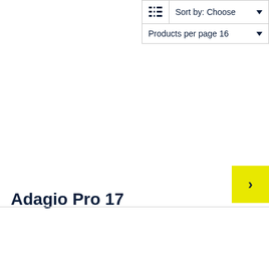[Figure (screenshot): Toolbar with list view icon, Sort by: Choose dropdown, and Products per page 16 dropdown]
Adagio Pro 17
[Figure (other): Yellow next/arrow button (›) in bottom right corner]